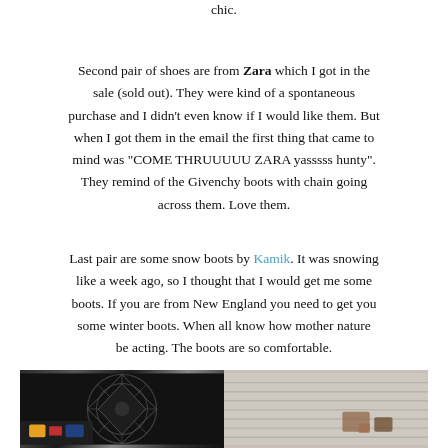chic.
Second pair of shoes are from Zara which I got in the sale (sold out). They were kind of a spontaneous purchase and I didn't even know if I would like them. But when I got them in the email the first thing that came to mind was "COME THRUUUUU ZARA yasssss hunty". They remind of the Givenchy boots with chain going across them. Love them.
Last pair are some snow boots by Kamik. It was snowing like a week ago, so I thought that I would get me some boots. If you are from New England you need to get you some winter boots. When all know how mother nature be acting. The boots are so comfortable.
[Figure (photo): A photo strip at the bottom of the page showing two images side by side: left image has a dark floral/geometric pattern, right image shows a light grey textured fabric or knit surface.]